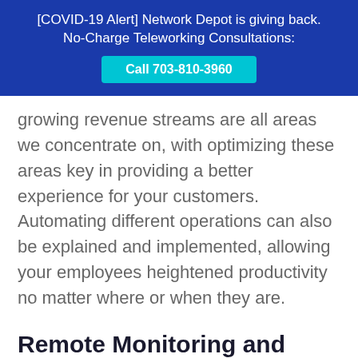[COVID-19 Alert] Network Depot is giving back. No-Charge Teleworking Consultations: Call 703-810-3960
growing revenue streams are all areas we concentrate on, with optimizing these areas key in providing a better experience for your customers. Automating different operations can also be explained and implemented, allowing your employees heightened productivity no matter where or when they are.
Remote Monitoring and Maintenance